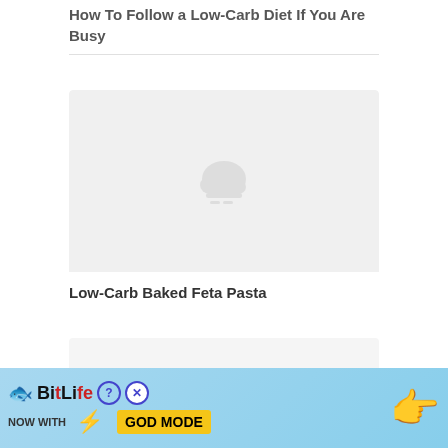How To Follow a Low-Carb Diet If You Are Busy
[Figure (photo): Image placeholder with cloud/offline icon on light gray background]
Low-Carb Baked Feta Pasta
[Figure (photo): Partial card/image at bottom, mostly cut off]
[Figure (screenshot): BitLife advertisement banner: NOW WITH GOD MODE, showing lightning bolt and pointing hand graphic]